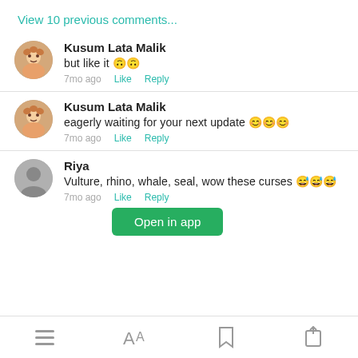View 10 previous comments...
Kusum Lata Malik
but like it 🙃🙃
7mo ago  Like  Reply
Kusum Lata Malik
eagerly waiting for your next update 😊😊😊
7mo ago  Like  Reply
Riya
Vulture, rhino, whale, seal, wow these curses 😅😅😅
7mo ago  Like  Reply
Open in app